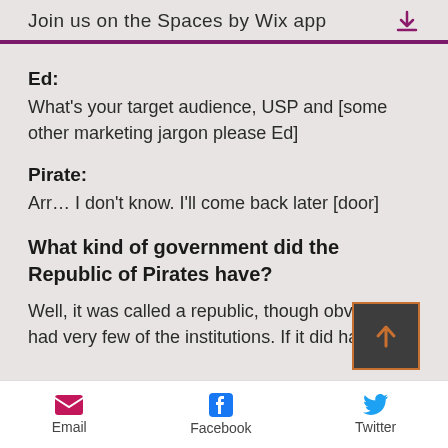Join us on the Spaces by Wix app
Ed:
What's your target audience, USP and [some other marketing jargon please Ed]
Pirate:
Arr… I don't know. I'll come back later [door]
What kind of government did the Republic of Pirates have?
Well, it was called a republic, though obviously had very few of the institutions. If it did have a
Email  Facebook  Twitter